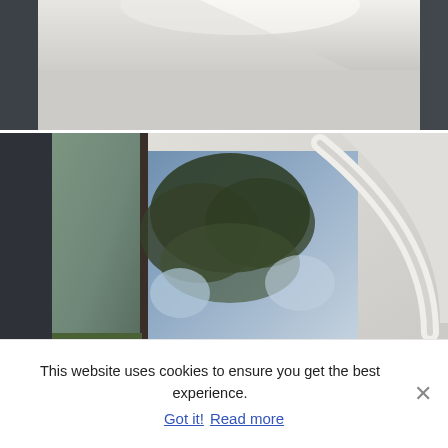[Figure (photo): Interior architectural photo showing a white ceiling and wall with dark framed edges, skylights, soft ambient lighting in a modern building]
[Figure (photo): Interior architectural photo showing a curved white ceiling with a large square skylight revealing trees and blue sky, floor-to-ceiling glass panels on left showing garden and suburban houses below]
This website uses cookies to ensure you get the best experience.
Got it!  Read more